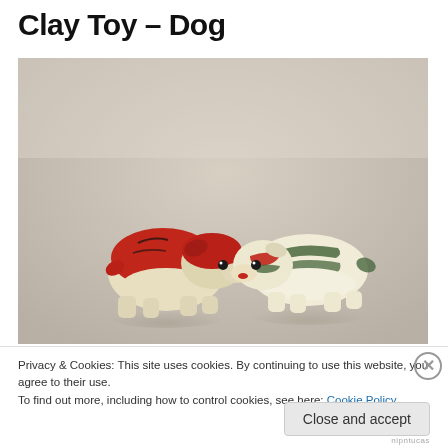Clay Toy – Dog
[Figure (photo): Two small painted clay dog figurines sitting on a light surface. The left figurine is predominantly red/maroon with decorative painted facial features. The right figurine is cream/white with green and red painted stripes and markings. Both are in a crouching position with stubby legs.]
Privacy & Cookies: This site uses cookies. By continuing to use this website, you agree to their use.
To find out more, including how to control cookies, see here: Cookie Policy